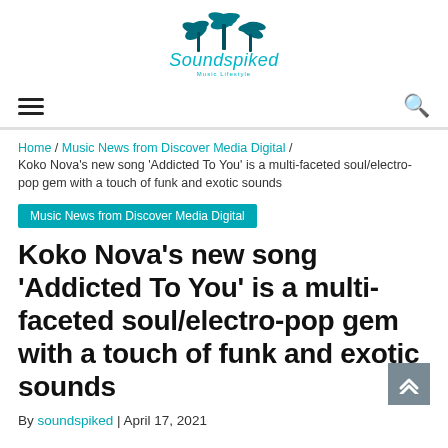[Figure (logo): Soundspiked Music Lifestyle logo with palm trees silhouette above the text 'Soundspiked' in teal cursive font and 'Music Lifestyle' in small text below]
≡  🔍
Home / Music News from Discover Media Digital / Koko Nova's new song 'Addicted To You' is a multi-faceted soul/electro-pop gem with a touch of funk and exotic sounds
Music News from Discover Media Digital
Koko Nova's new song 'Addicted To You' is a multi-faceted soul/electro-pop gem with a touch of funk and exotic sounds
By soundspiked | April 17, 2021